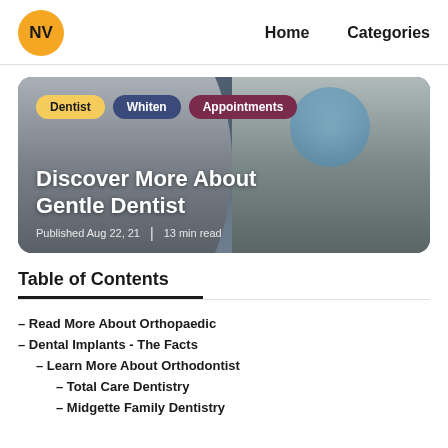NV  Home  Categories
[Figure (photo): Dentist working with a child patient in a dental chair. Hero image for article about Gentle Dentist. Tags: Dentist, Whiten, Appointments. Title: Discover More About Gentle Dentist. Published Aug 22, 21 | 13 min read]
Table of Contents
– Read More About Orthopaedic
– Dental Implants - The Facts
– Learn More About Orthodontist
– Total Care Dentistry
– Midgette Family Dentistry